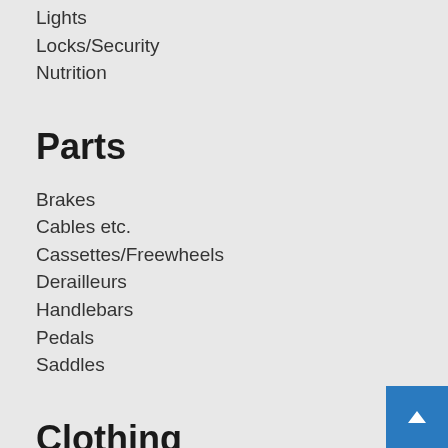Lights
Locks/Security
Nutrition
Parts
Brakes
Cables etc.
Cassettes/Freewheels
Derailleurs
Handlebars
Pedals
Saddles
Clothing
Gloves
Jerseys/Tops